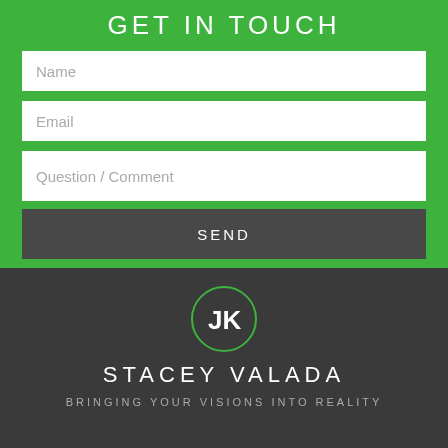GET IN TOUCH
Name
Email
Question / Comment
SEND
[Figure (logo): Circular green logo with white JK letters]
STACEY VALADA
BRINGING YOUR VISIONS INTO REALITY